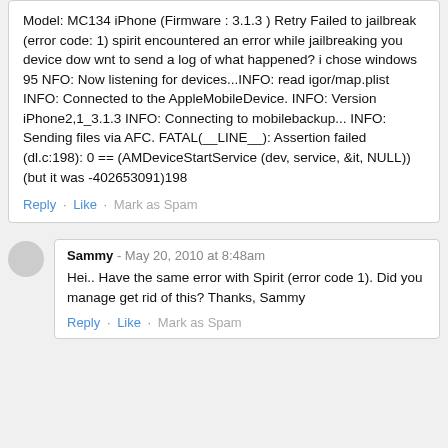Model: MC134 iPhone (Firmware : 3.1.3 ) Retry Failed to jailbreak (error code: 1) spirit encountered an error while jailbreaking you device dow wnt to send a log of what happened? i chose windows 95 NFO: Now listening for devices...INFO: read igor/map.plist INFO: Connected to the AppleMobileDevice. INFO: Version iPhone2,1_3.1.3 INFO: Connecting to mobilebackup... INFO: Sending files via AFC. FATAL(__LINE__): Assertion failed (dl.c:198): 0 == (AMDeviceStartService (dev, service, &it, NULL)) (but it was -402653091)198
Reply · Like · Mark as Spam
Sammy - May 20, 2010 at 8:48am
Hei.. Have the same error with Spirit (error code 1). Did you manage get rid of this? Thanks, Sammy
Reply · Like · Mark as Spam